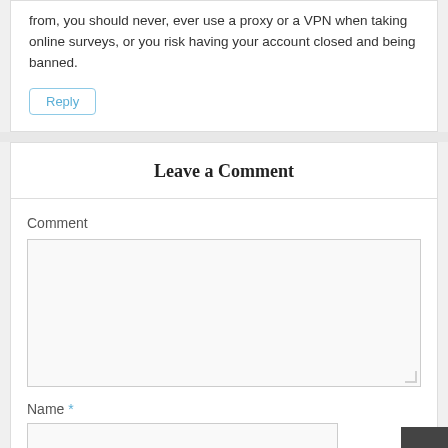from, you should never, ever use a proxy or a VPN when taking online surveys, or you risk having your account closed and being banned.
Reply
Leave a Comment
Comment
Name *